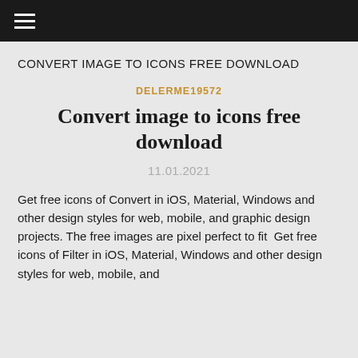≡
CONVERT IMAGE TO ICONS FREE DOWNLOAD
DELERME19572
Convert image to icons free download
11.01.2021
Get free icons of Convert in iOS, Material, Windows and other design styles for web, mobile, and graphic design projects. The free images are pixel perfect to fit  Get free icons of Filter in iOS, Material, Windows and other design styles for web, mobile, and